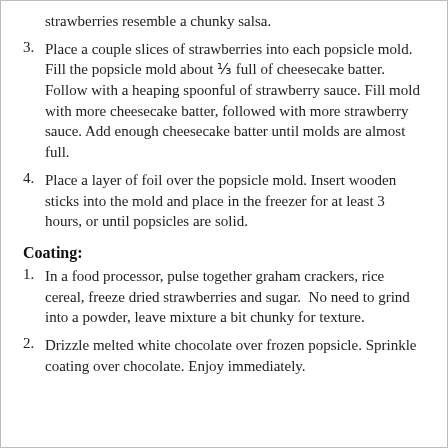strawberries resemble a chunky salsa.
3. Place a couple slices of strawberries into each popsicle mold. Fill the popsicle mold about ⅓ full of cheesecake batter. Follow with a heaping spoonful of strawberry sauce. Fill mold with more cheesecake batter, followed with more strawberry sauce. Add enough cheesecake batter until molds are almost full.
4. Place a layer of foil over the popsicle mold. Insert wooden sticks into the mold and place in the freezer for at least 3 hours, or until popsicles are solid.
Coating:
1. In a food processor, pulse together graham crackers, rice cereal, freeze dried strawberries and sugar.  No need to grind into a powder, leave mixture a bit chunky for texture.
2. Drizzle melted white chocolate over frozen popsicle. Sprinkle coating over chocolate. Enjoy immediately.